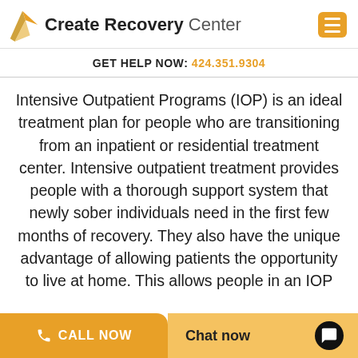Create Recovery Center
GET HELP NOW: 424.351.9304
Intensive Outpatient Programs (IOP) is an ideal treatment plan for people who are transitioning from an inpatient or residential treatment center. Intensive outpatient treatment provides people with a thorough support system that newly sober individuals need in the first few months of recovery. They also have the unique advantage of allowing patients the opportunity to live at home. This allows people in an IOP
CALL NOW
Chat now